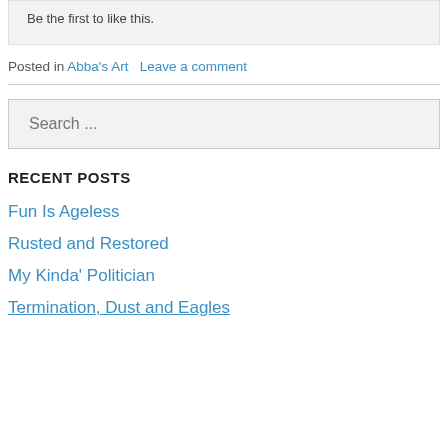Be the first to like this.
Posted in Abba's Art   Leave a comment
Search ...
RECENT POSTS
Fun Is Ageless
Rusted and Restored
My Kinda' Politician
Termination, Dust and Eagles